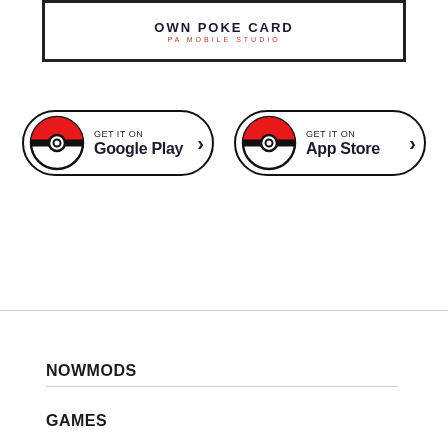[Figure (screenshot): App banner for 'OWN POKE CARD' by PA MOBILE STUDIO with Pokémon card images on both sides]
[Figure (illustration): GET IT ON Google Play button with Pokéball icon and arrow]
[Figure (illustration): GET IT ON App Store button with Pokéball icon and arrow]
NOWMODS
GAMES